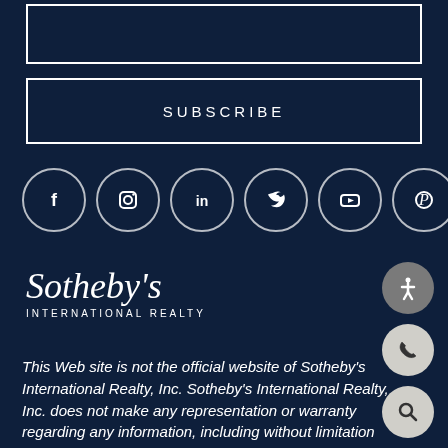[Figure (other): Empty input field with white border on dark navy background]
SUBSCRIBE
[Figure (other): Row of 6 social media icons in white circles: Facebook, Instagram, LinkedIn, Twitter, YouTube, Pinterest]
[Figure (logo): Sotheby's International Realty logo in white italic serif text]
[Figure (other): Three circular icon buttons on right: accessibility (gray), phone (light gray), search (light gray)]
This Web site is not the official website of Sotheby's International Realty, Inc. Sotheby's International Realty, Inc. does not make any representation or warranty regarding any information, including without limitation its